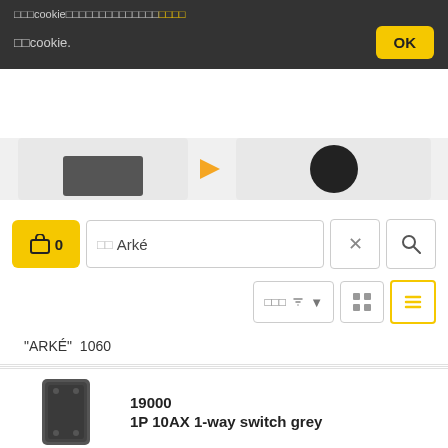□□□cookie□□□□□□□□□□□□□□□□
□□cookie.
[Figure (screenshot): Partially visible product thumbnail row from a web shop]
[Figure (screenshot): Toolbar with cart button showing 0, search box with text '□□Arké', close and search buttons, and view toggle buttons]
"ARKÉ"  1060
0K19592.02
Zigbee2-way switch kit ArkéClassic black
19000
1P 10AX 1-way switch grey